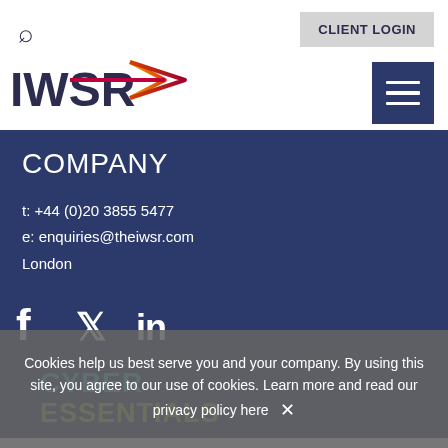[Figure (logo): IWSR logo with yellow-to-red gradient stylized lines and text 'IWSR']
CLIENT LOGIN
COMPANY
t: +44 (0)20 3855 5477
e: enquiries@theiwsr.com
London
[Figure (illustration): Social media icons: Facebook, Twitter, LinkedIn in white]
CYBER
ESSENTIALS
Cookies help us best serve you and your company. By using this site, you agree to our use of cookies. Learn more and read our privacy policy here ✕